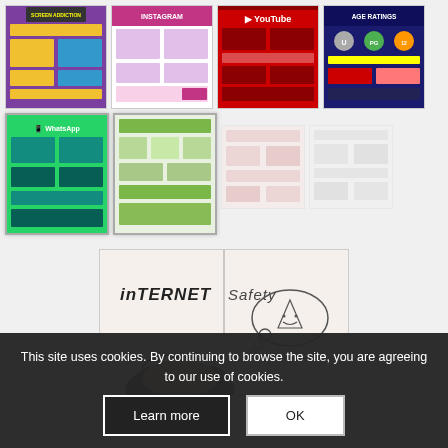[Figure (screenshot): Grid of infographic thumbnails about internet/screen safety topics including Screen Addiction, Instagram, YouTube, Age Ratings, WhatsApp, and other internet safety posters. Bottom half shows a child's hand-drawn illustration with 'inTERNET Safety' text and a thought bubble with a character.]
This site uses cookies. By continuing to browse the site, you are agreeing to our use of cookies.
Learn more
OK